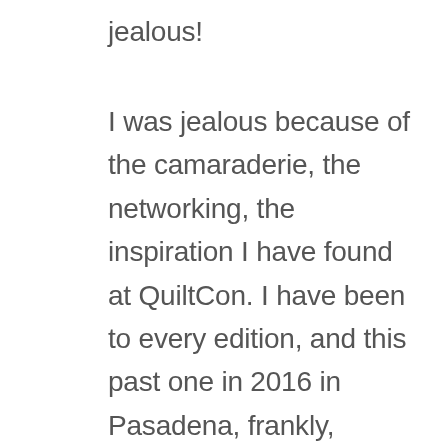jealous!
I was jealous because of the camaraderie, the networking, the inspiration I have found at QuiltCon. I have been to every edition, and this past one in 2016 in Pasadena, frankly, bowled me over. I am very impressed with the production of this show and how quickly they have been able to develop it in a very sophisticated, forward-thinking manner, not to mention the excitement that manufacturers and movers and shakers in this industry have for it.